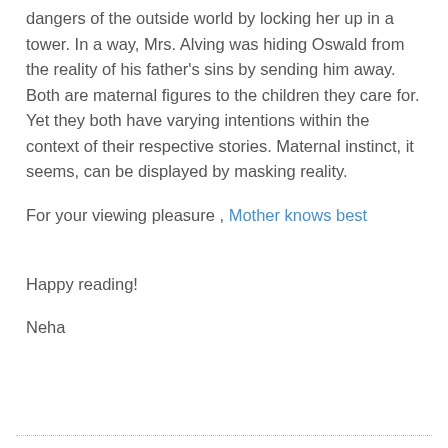dangers of the outside world by locking her up in a tower. In a way, Mrs. Alving was hiding Oswald from the reality of his father's sins by sending him away. Both are maternal figures to the children they care for. Yet they both have varying intentions within the context of their respective stories. Maternal instinct, it seems, can be displayed by masking reality.
For your viewing pleasure , Mother knows best
Happy reading!
Neha